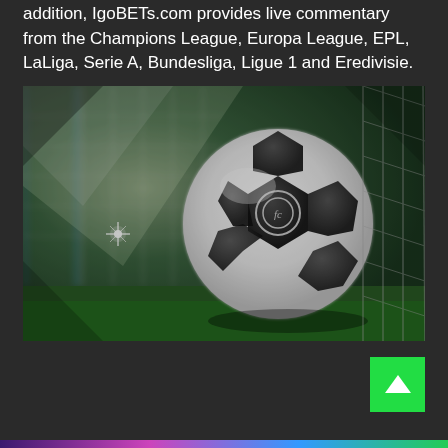addition, IgoBETs.com provides live commentary from the Champions League, Europa League, EPL, LaLiga, Serie A, Bundesliga, Ligue 1 and Eredivisie.
[Figure (photo): Close-up photo of a black and white soccer ball hitting the back of a goal net, with green grass and goal posts blurred in the background. A spark of light is visible on the left side.]
[Figure (other): Green back-to-top button with a white upward-pointing arrow chevron, positioned at lower right of the page.]